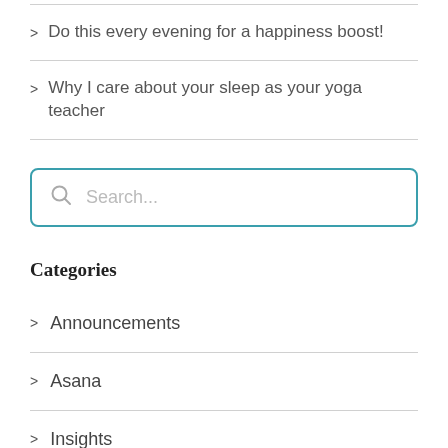> Do this every evening for a happiness boost!
> Why I care about your sleep as your yoga teacher
[Figure (other): Search input box with magnifying glass icon and placeholder text 'Search...' with teal border]
Categories
> Announcements
> Asana
> Insights
> Meditation